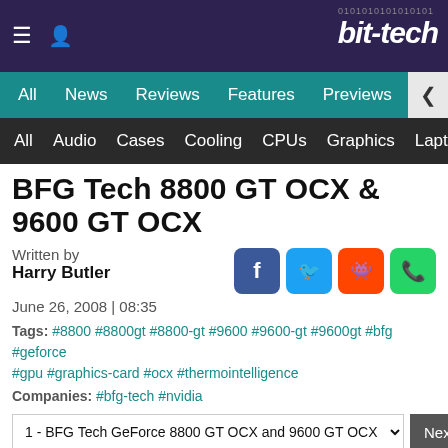bit-tech
All  News  Reviews  Features  Previews  Guides  B
All  Audio  Cases  Cooling  CPUs  Graphics  Laptops  M
BFG Tech 8800 GT OCX & 9600 GT OCX
Written by
Harry Butler
June 26, 2008 | 08:35
Tags: #8800 #8800gt #8800-gt #9600 #9600-gt #9600gt #bfg #geforce #gpu #graphics-card #ocx #thermointelligence
Companies: #bfg-tech #nvidia
1 - BFG Tech GeForce 8800 GT OCX and 9600 GT OCX   Next
In line with recent changes to data protection legislation in the UK and Europe we would like to direct you to our updated Privacy Policy here.
Dismiss